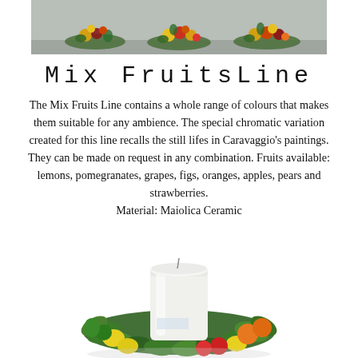[Figure (photo): Photo of three ceramic fruit arrangements on a gray surface, showing colorful mixed fruits including lemons, grapes, and other fruits arranged decoratively]
Mix FruitsLine
The Mix Fruits Line contains a whole range of colours that makes them suitable for any ambience. The special chromatic variation created for this line recalls the still lifes in Caravaggio's paintings. They can be made on request in any combination. Fruits available: lemons, pomegranates, grapes, figs, oranges, apples, pears and strawberries.
Material: Maiolica Ceramic
[Figure (photo): Photo of a white cylindrical candle surrounded by a ceramic ring of colorful mixed fruits and green leaves, in Maiolica ceramic style. The fruits include lemons (yellow), oranges, and other colorful fruits arranged around the base.]